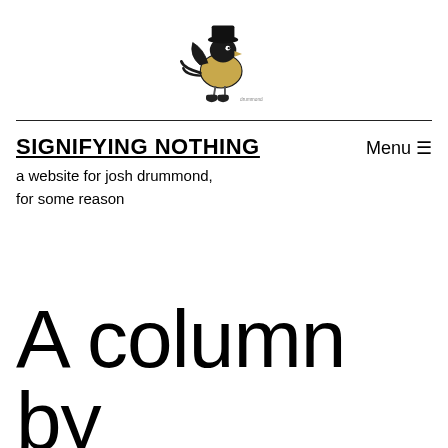[Figure (illustration): A cartoon bird wearing a hat and boots, drawn in black and gold, with a small signature text below it]
SIGNIFYING NOTHING
a website for josh drummond, for some reason
A column by